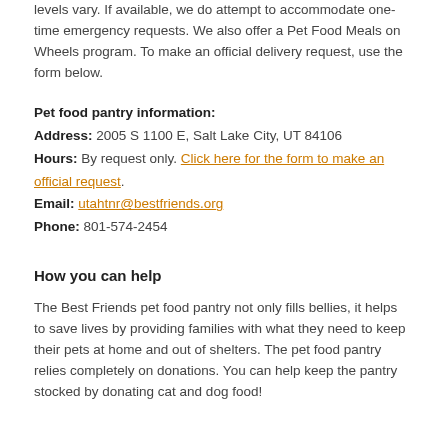levels vary. If available, we do attempt to accommodate one-time emergency requests. We also offer a Pet Food Meals on Wheels program. To make an official delivery request, use the form below.
Pet food pantry information:
Address: 2005 S 1100 E, Salt Lake City, UT 84106
Hours: By request only. Click here for the form to make an official request.
Email: utahtnr@bestfriends.org
Phone: 801-574-2454
How you can help
The Best Friends pet food pantry not only fills bellies, it helps to save lives by providing families with what they need to keep their pets at home and out of shelters. The pet food pantry relies completely on donations. You can help keep the pantry stocked by donating cat and dog food!